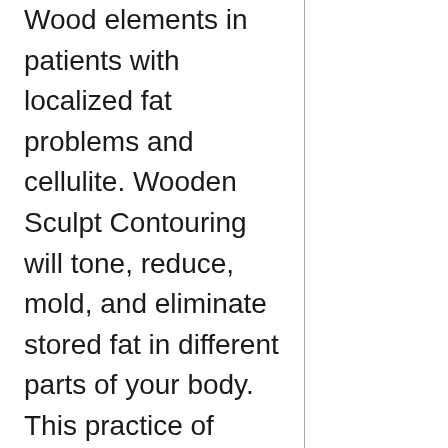Wood elements in patients with localized fat problems and cellulite. Wooden Sculpt Contouring will tone, reduce, mold, and eliminate stored fat in different parts of your body. This practice of Wooden Therapy can also give you a natural buttocks lift without having costly, painful or invasive plastic surgery.
Maderoterapia / Wooden Sculpting
$450